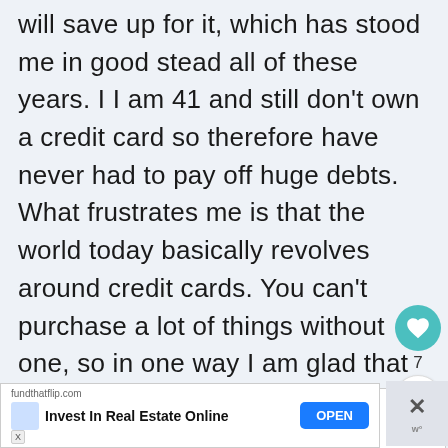will save up for it, which has stood me in good stead all of these years. I I am 41 and still don't own a credit card so therefore have never had to pay off huge debts. What frustrates me is that the world today basically revolves around credit cards. You can't purchase a lot of things without one, so in one way I am glad that my hubby has them. But I don't like to feel like I am underpinned by the rules of owning one. and the thought of repaying one runs my blood cold. I did collect bits and
[Figure (other): Social interaction widget with heart/like button showing count of 7 and a share button]
[Figure (other): WHAT'S NEXT overlay showing thumbnail image and text '10 Ways to Boost Your...']
[Figure (other): Advertisement banner for fundthatflip.com: 'Invest In Real Estate Online' with blue OPEN button]